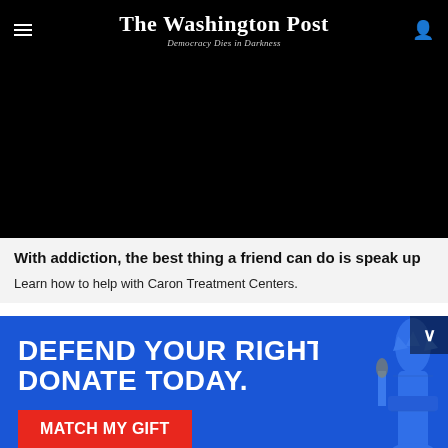The Washington Post — Democracy Dies in Darkness
[Figure (photo): Black video player area, presumably a video thumbnail or embedded video content]
With addiction, the best thing a friend can do is speak up
Learn how to help with Caron Treatment Centers.
[Figure (infographic): ACLU advertisement banner with blue background showing text: DEFEND YOUR RIGHTS. DONATE TODAY. with a red MATCH MY GIFT button, ACLU logo, and Statue of Liberty image]